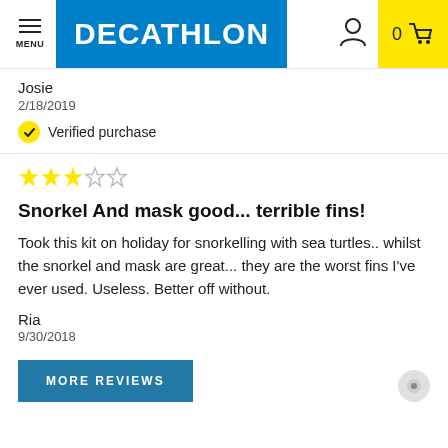DECATHLON — MENU header with user and cart icons
Josie
2/18/2019
Verified purchase
[Figure (other): 3 out of 5 stars rating]
Snorkel And mask good... terrible fins!
Took this kit on holiday for snorkelling with sea turtles.. whilst the snorkel and mask are great... they are the worst fins I've ever used. Useless. Better off without.
Ria
9/30/2018